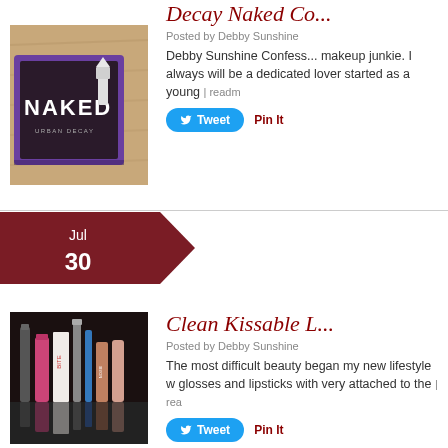[Figure (photo): Urban Decay NAKED eyeshadow palette box with purple and dark packaging, showing the NAKED logo with a lipstick image]
Decay Naked Co...
Posted by Debby Sunshine
Debby Sunshine Confess... makeup junkie. I always will be a dedicated lover started as a young | readm
Tweet  Pin It
Jul 30
[Figure (photo): Collection of lip glosses and lipsticks arranged on a dark surface, including BITE brand and other cosmetic products]
Clean Kissable L...
Posted by Debby Sunshine
The most difficult beauty began my new lifestyle w glosses and lipsticks with very attached to the | rea
Tweet  Pin It